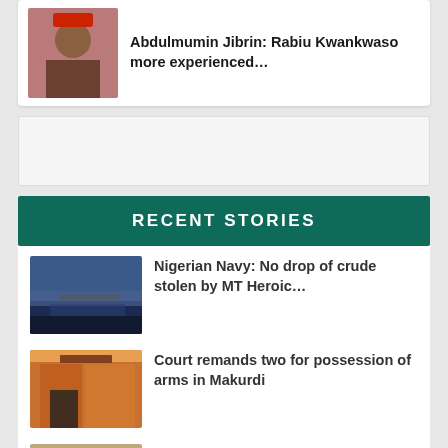[Figure (photo): Man wearing red cap, portrait photo thumbnail]
Abdulmumin Jibrin: Rabiu Kwankwaso more experienced...
[Figure (other): Advertisement placeholder box]
RECENT STORIES
[Figure (photo): Ship on water, Nigerian Navy story thumbnail]
Nigerian Navy: No drop of crude stolen by MT Heroic...
[Figure (photo): Courtroom door, court story thumbnail]
Court remands two for possession of arms in Makurdi
[Figure (photo): Man portrait, SEC story thumbnail]
SEC: Ponzi scheme the cancer invading capital...